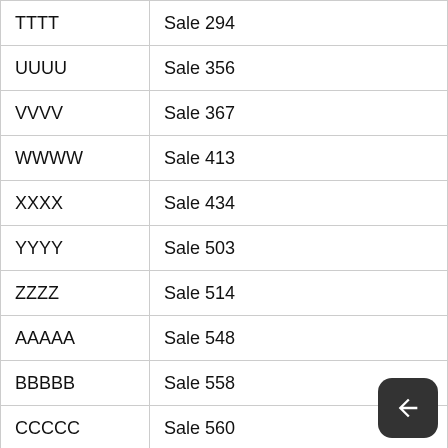|  |  |
| --- | --- |
| TTTT | Sale 294 |
| UUUU | Sale 356 |
| VVVV | Sale 367 |
| WWWW | Sale 413 |
| XXXX | Sale 434 |
| YYYY | Sale 503 |
| ZZZZ | Sale 514 |
| AAAAA | Sale 548 |
| BBBBB | Sale 558 |
| CCCCC | Sale 560 |